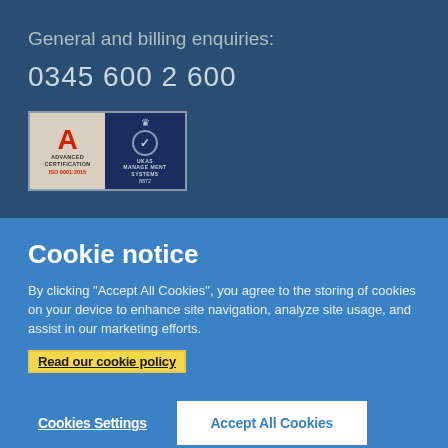General and billing enquiries:
0345 600 2 600
[Figure (logo): Advanced Certification ISO 9001:2015 and UKAS Management Systems 8872 logos side by side]
Cookie notice
By clicking "Accept All Cookies", you agree to the storing of cookies on your device to enhance site navigation, analyze site usage, and assist in our marketing efforts.
Read our cookie policy
Cookies Settings
Accept All Cookies